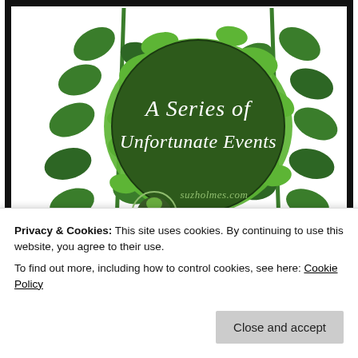[Figure (illustration): Book cover illustration: white background with decorative green leaves and branches. A large dark green circle in the center with a bright green paint-splash background. Cursive white text reads 'A Series of Unfortunate Events'. Below the circle text reads 'suzholmes.com'. A circular stamp/logo with a tree is in the lower left of the circle. Black frame border around the image.]
A Series of Unfortunate Events
Privacy & Cookies: This site uses cookies. By continuing to use this website, you agree to their use.
To find out more, including how to control cookies, see here: Cookie Policy